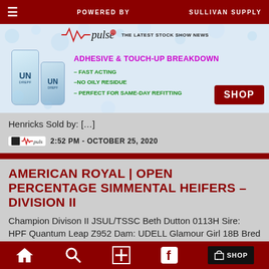POWERED BY  SULLIVAN SUPPLY
[Figure (infographic): Advertisement banner for Undrepp adhesive products with Pulse logo, headline 'ADHESIVE & TOUCH-UP BREAKDOWN', bullet points, and SHOP button]
Henricks Sold by: […]
2:52 PM - OCTOBER 25, 2020
AMERICAN ROYAL | OPEN PERCENTAGE SIMMENTAL HEIFERS – DIVISION II
Champion Divison II JSUL/TSSC Beth Dutton 0113H Sire: HPF Quantum Leap Z952 Dam: UDELL Glamour Girl 18B Bred by: Sullivan […]
Home  Search  Plus  Facebook  SHOP